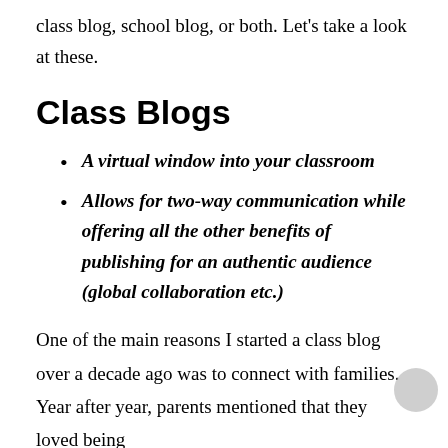class blog, school blog, or both. Let's take a look at these.
Class Blogs
A virtual window into your classroom
Allows for two-way communication while offering all the other benefits of publishing for an authentic audience (global collaboration etc.)
One of the main reasons I started a class blog over a decade ago was to connect with families. Year after year, parents mentioned that they loved being